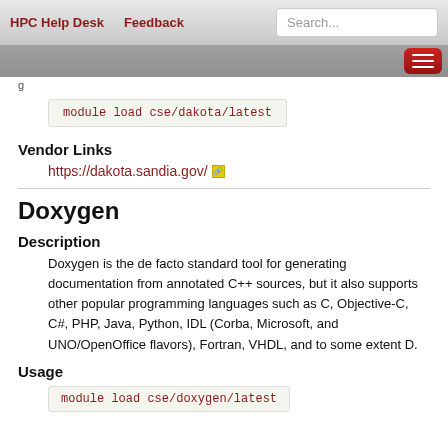HPC Help Desk   Feedback   Search...
module load cse/dakota/latest
Vendor Links
https://dakota.sandia.gov/
Doxygen
Description
Doxygen is the de facto standard tool for generating documentation from annotated C++ sources, but it also supports other popular programming languages such as C, Objective-C, C#, PHP, Java, Python, IDL (Corba, Microsoft, and UNO/OpenOffice flavors), Fortran, VHDL, and to some extent D.
Usage
module load cse/doxygen/latest